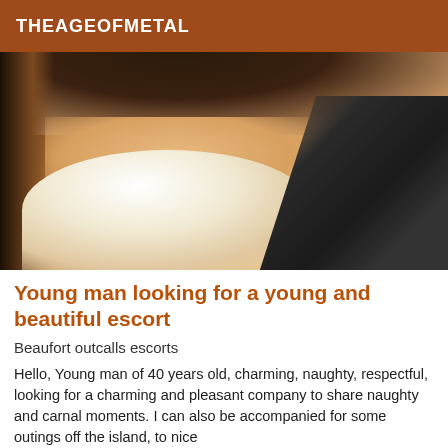THEAGEOFMETAL
[Figure (photo): Close-up photo of a woman wearing a white bra with dark straps, showing chest and partial face with dark hair]
Young man looking for a young and beautiful escort
Beaufort outcalls escorts
Hello, Young man of 40 years old, charming, naughty, respectful, looking for a charming and pleasant company to share naughty and carnal moments. I can also be accompanied for some outings off the island, to nice places...